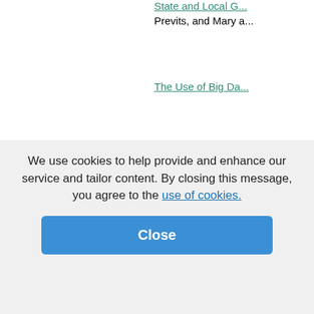State and Local G... Previts, and Mary a...
The Use of Big Da...
PDF  Corporate investm... Wang, and Chanyo...
PDF  Determining the m... method, Jun Dai a...
Link  Planning for Ubiqu...
From Multimedia M...
Link  Global Virtual Tear... Porter
Chemical Waste a...
We use cookies to help provide and enhance our service and tailor content. By closing this message, you agree to the use of cookies.
Close